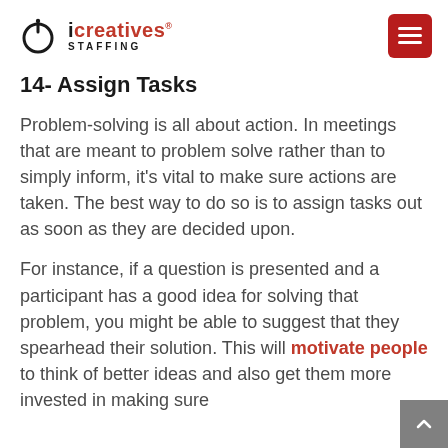icreatives STAFFING
14- Assign Tasks
Problem-solving is all about action. In meetings that are meant to problem solve rather than to simply inform, it’s vital to make sure actions are taken. The best way to do so is to assign tasks out as soon as they are decided upon.
For instance, if a question is presented and a participant has a good idea for solving that problem, you might be able to suggest that they spearhead their solution. This will motivate people to think of better ideas and also get them more invested in making sure